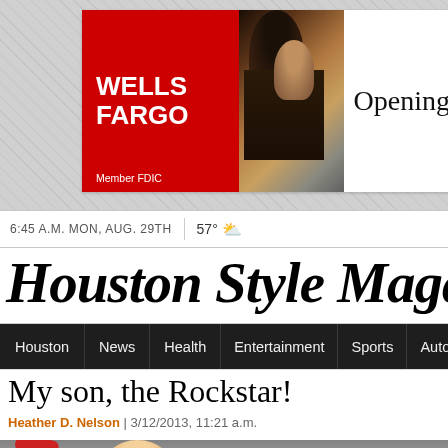[Figure (screenshot): Wells Fargo advertisement banner showing Wells Fargo logo in red on left, a photo of a woman and child in the center, and the text 'Opening' on the right with 'Member FDIC' text visible]
6:45 A.M. MON, AUG. 29TH | 57°
Houston Style Magazine
Houston | News | Health | Entertainment | Sports | Auto | Style
My son, the Rockstar!
Heather D. Nelson | 3/12/2013, 11:21 a.m.
[Figure (photo): Bottom portion of a child photo showing red playground equipment and a child with light hair, green grass in background]